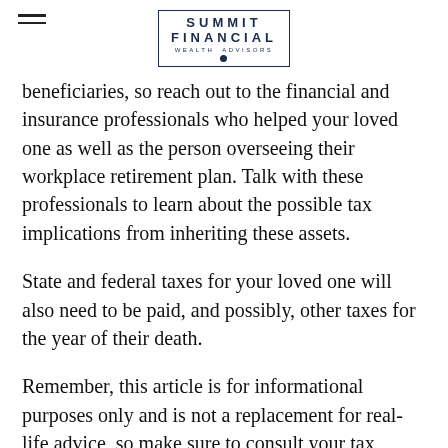SUMMIT FINANCIAL WEALTH ADVISORS
beneficiaries, so reach out to the financial and insurance professionals who helped your loved one as well as the person overseeing their workplace retirement plan. Talk with these professionals to learn about the possible tax implications from inheriting these assets.
State and federal taxes for your loved one will also need to be paid, and possibly, other taxes for the year of their death.
Remember, this article is for informational purposes only and is not a replacement for real-life advice, so make sure to consult your tax, legal, and accounting professionals before modifying your any tax or estate strategy.